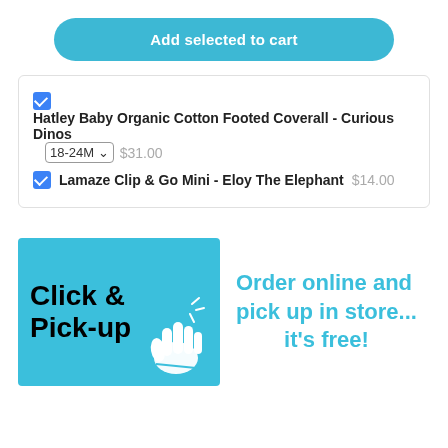Add selected to cart
Hatley Baby Organic Cotton Footed Coverall - Curious Dinos 18-24M $31.00
Lamaze Clip & Go Mini - Eloy The Elephant $14.00
[Figure (infographic): Click & Pick-up promotional banner with a hand/pointer icon on a blue background, with text 'Order online and pick up in store... it's free!' in blue on white background]